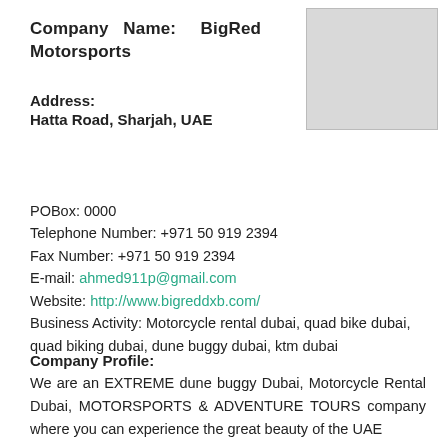Company Name: BigRed Motorsports
[Figure (other): Light grey placeholder box for company logo]
Address:
Hatta Road, Sharjah, UAE
POBox: 0000
Telephone Number: +971 50 919 2394
Fax Number: +971 50 919 2394
E-mail: ahmed911p@gmail.com
Website: http://www.bigreddxb.com/
Business Activity: Motorcycle rental dubai, quad bike dubai, quad biking dubai, dune buggy dubai, ktm dubai
Company Profile:
We are an EXTREME dune buggy Dubai, Motorcycle Rental Dubai, MOTORSPORTS & ADVENTURE TOURS company where you can experience the great beauty of the UAE